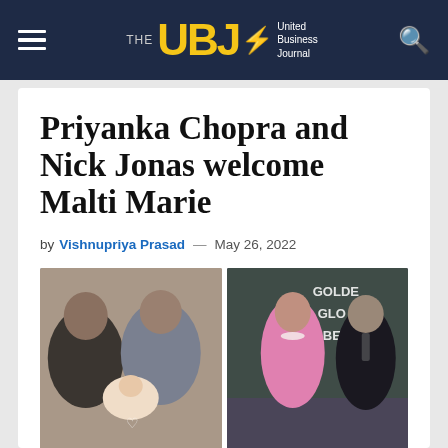THE UBJ — United Business Journal
Priyanka Chopra and Nick Jonas welcome Malti Marie
by Vishnupriya Prasad — May 26, 2022
[Figure (photo): Two side-by-side photos: left shows Priyanka Chopra and Nick Jonas with baby Malti Marie; right shows the couple on the Golden Globes red carpet.]